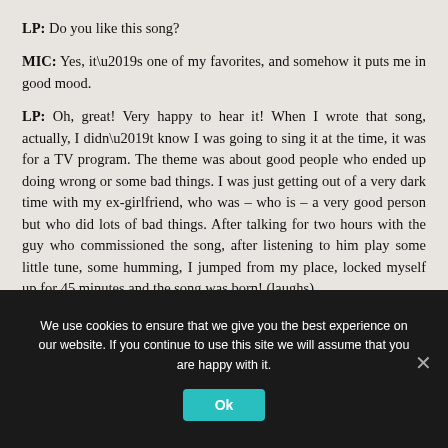LP: Do you like this song?
MIC: Yes, it’s one of my favorites, and somehow it puts me in good mood.
LP: Oh, great! Very happy to hear it! When I wrote that song, actually, I didn’t know I was going to sing it at the time, it was for a TV program. The theme was about good people who ended up doing wrong or some bad things. I was just getting out of a very dark time with my ex-girlfriend, who was – who is – a very good person but who did lots of bad things. After talking for two hours with the guy who commissioned the song, after listening to him play some little tune, some humming, I jumped from my place, locked myself up for 45 minutes and the song was born! (laughs)
We use cookies to ensure that we give you the best experience on our website. If you continue to use this site we will assume that you are happy with it.